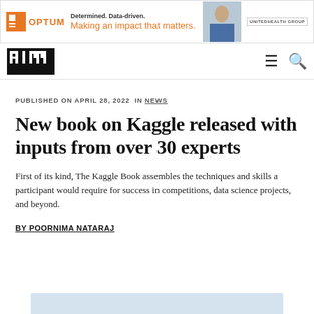[Figure (other): Optum advertisement banner: 'Determined. Data-driven. Making an impact that matters.' with Optum logo, a person photo, and UnitedHealth Group logo]
[Figure (logo): AIM (Analytics India Magazine) logo - black square with white pixel art letters]
PUBLISHED ON APRIL 28, 2022  IN NEWS
New book on Kaggle released with inputs from over 30 experts
First of its kind, The Kaggle Book assembles the techniques and skills a participant would require for success in competitions, data science projects, and beyond.
BY POORNIMA NATARAJ
[Figure (other): Partial image visible at bottom of page with light blue/grey background]